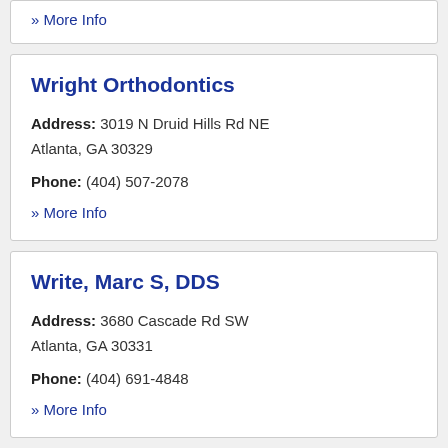» More Info
Wright Orthodontics
Address: 3019 N Druid Hills Rd NE
Atlanta, GA 30329
Phone: (404) 507-2078
» More Info
Write, Marc S, DDS
Address: 3680 Cascade Rd SW
Atlanta, GA 30331
Phone: (404) 691-4848
» More Info